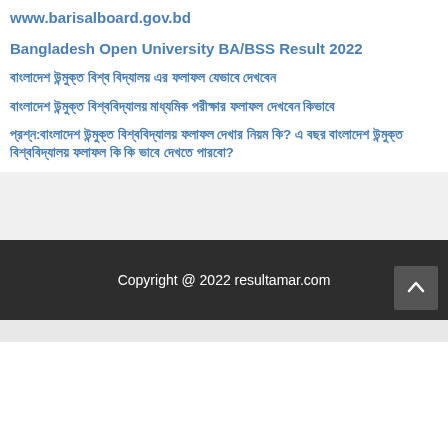www.barisalboard.gov.bd
Bangladesh Open University BA/BSS Result 2022
বাংলাদেশ উন্মুক্ত বিশ্ব বিদ্যালয় এর ফলাফল যেভাবে দেখবেন
বাংলাদেশ উন্মুক্ত বিশ্ববিদ্যালয় মাধ্যমিক পরীক্ষার ফলাফল দেখবেন কিভাবে
প্রশ্ন:বাংলাদেশ উন্মুক্ত বিশ্ববিদ্যালয় ফলাফল দেখার নিয়ম কি? এ বছর বাংলাদেশ উন্মুক্ত বিশ্ববিদ্যালয় ফলাফল কি কি ভাবে দেখতে পারবো?
Copyright @ 2022 resultamar.com